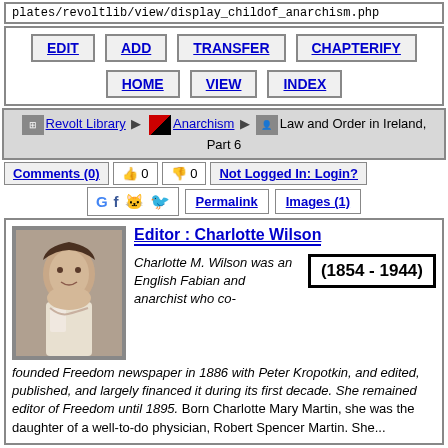plates/revoltlib/view/display_childof_anarchism.php
EDIT | ADD | TRANSFER | CHAPTERIFY | HOME | VIEW | INDEX
Revolt Library > Anarchism > Law and Order in Ireland, Part 6
Comments (0)  0  0  Not Logged In: Login?
Permalink  Images (1)
Editor : Charlotte Wilson
(1854 - 1944)
Charlotte M. Wilson was an English Fabian and anarchist who co-founded Freedom newspaper in 1886 with Peter Kropotkin, and edited, published, and largely financed it during its first decade. She remained editor of Freedom until 1895. Born Charlotte Mary Martin, she was the daughter of a well-to-do physician, Robert Spencer Martin. She...